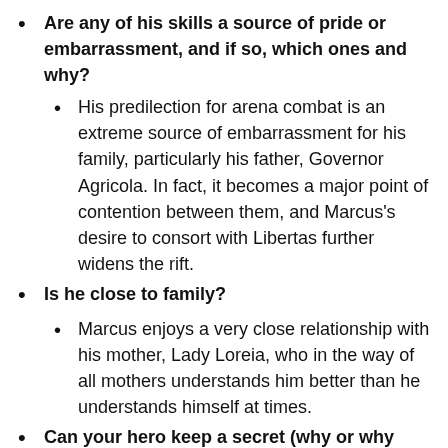Are any of his skills a source of pride or embarrassment, and if so, which ones and why?
His predilection for arena combat is an extreme source of embarrassment for his family, particularly his father, Governor Agricola. In fact, it becomes a major point of contention between them, and Marcus's desire to consort with Libertas further widens the rift.
Is he close to family?
Marcus enjoys a very close relationship with his mother, Lady Loreia, who in the way of all mothers understands him better than he understands himself at times.
Can your hero keep a secret (why or why not)?
Marcus must keep his budding relationship with Libertas a secret, for to do otherwise would cause him to be banned from polite Roman society. He doesn't care about that so much, but he knows it